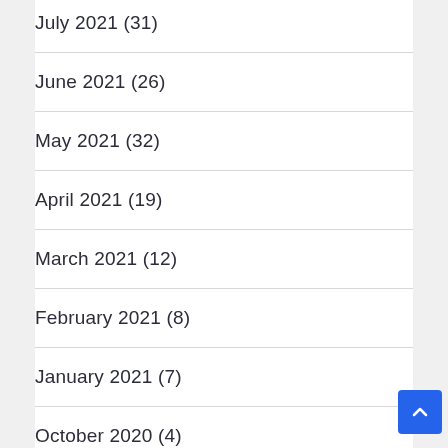July 2021 (31)
June 2021 (26)
May 2021 (32)
April 2021 (19)
March 2021 (12)
February 2021 (8)
January 2021 (7)
October 2020 (4)
September 2020 (12)